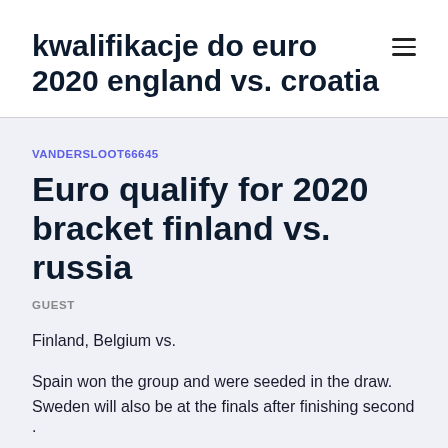kwalifikacje do euro 2020 england vs. croatia
VANDERSLOOT66645
Euro qualify for 2020 bracket finland vs. russia
GUEST
Finland, Belgium vs.
Spain won the group and were seeded in the draw. Sweden will also be at the finals after finishing second ·